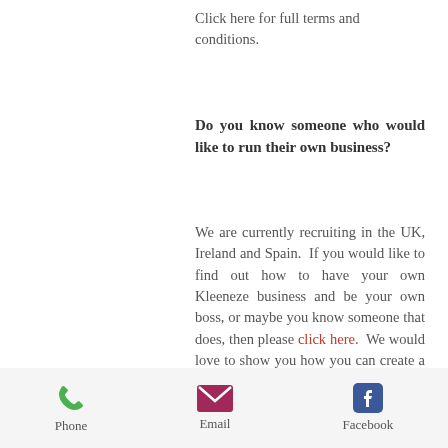Click here for full terms and conditions.
Do you know someone who would like to run their own business?
We are currently recruiting in the UK, Ireland and Spain.  If you would like to find out how to have your own Kleeneze business and be your own boss, or maybe you know someone that does, then please click here.  We would love to show you how you can create a better future.
Phone  Email  Facebook